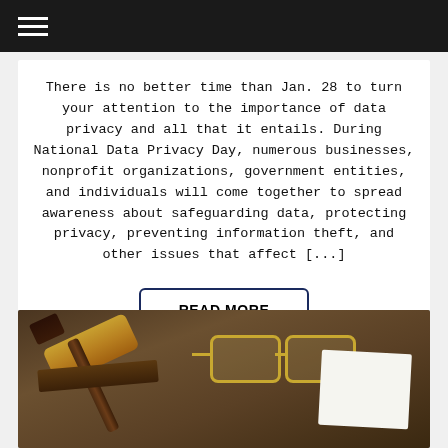Navigation menu header bar
There is no better time than Jan. 28 to turn your attention to the importance of data privacy and all that it entails. During National Data Privacy Day, numerous businesses, nonprofit organizations, government entities, and individuals will come together to spread awareness about safeguarding data, protecting privacy, preventing information theft, and other issues that affect [...]
READ MORE
[Figure (photo): Photo of a judge's gavel on a book alongside reading glasses and papers on a dark wooden desk surface]